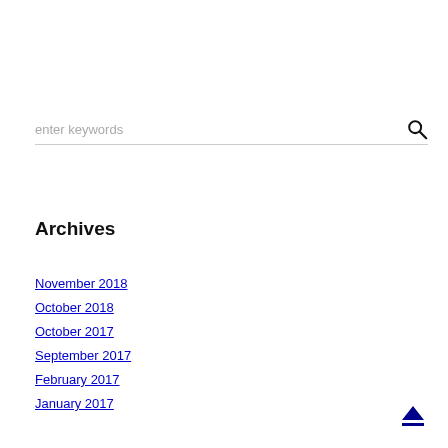enter keywords
Archives
November 2018
October 2018
October 2017
September 2017
February 2017
January 2017